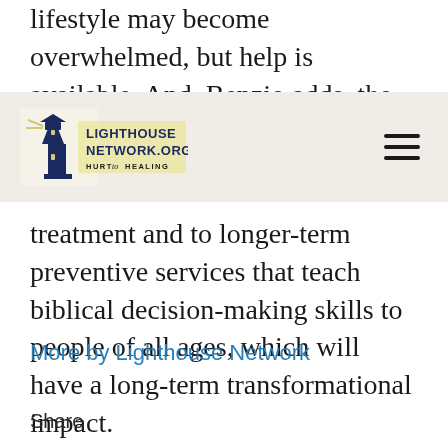lifestyle may become overwhelmed, but help is available. And, Benzio adds, the
[Figure (logo): Lighthouse Network.org Hurt to Healing logo with lighthouse illustration]
treatment and to longer-term preventive services that teach biblical decision-making skills to people of all ages, which will have a long-term transformational impact.
More by Lighthouse Network
Share